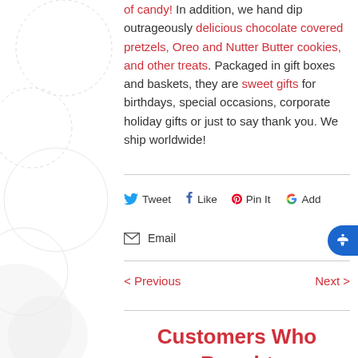of candy! In addition, we hand dip outrageously delicious chocolate covered pretzels, Oreo and Nutter Butter cookies, and other treats. Packaged in gift boxes and baskets, they are sweet gifts for birthdays, special occasions, corporate holiday gifts or just to say thank you. We ship worldwide!
Tweet  Like  Pin It  Add
Email
< Previous   Next >
Customers Who Bought